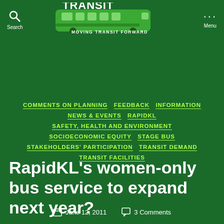TRANSIT — MOVING TRANSIT FORWARD
COMMENTS ON PLANNING
FEEDBACK
INFORMATION
NEWS & EVENTS
RAPIDKL
SAFETY, HEALTH AND ENVIRONMENT
SOCIOECONOMIC EQUITY
STAGE BUS
STAKEHOLDERS' PARTICIPATION
TRANSIT DEMAND
TRANSIT FACILITIES
RapidKL's women-only bus service to expand next year?
June 12, 2011   3 Comments